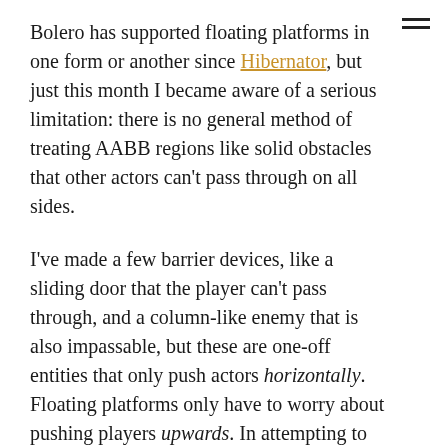Bolero has supported floating platforms in one form or another since Hibernator, but just this month I became aware of a serious limitation: there is no general method of treating AABB regions like solid obstacles that other actors can't pass through on all sides.
I've made a few barrier devices, like a sliding door that the player can't pass through, and a column-like enemy that is also impassable, but these are one-off entities that only push actors horizontally. Floating platforms only have to worry about pushing players upwards. In attempting to make an actor which is impassable on the left and right sides, but which also serves as a surface to stand on, and a ceiling to bump into, I realized I had a pretty big problem.